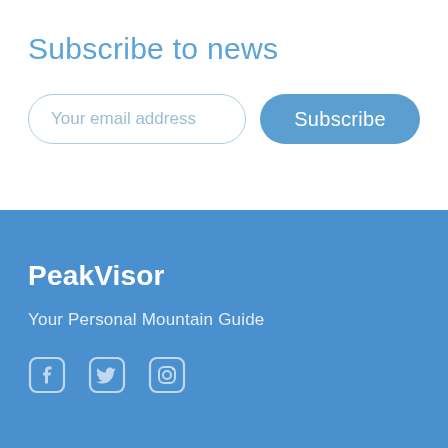Subscribe to news
[Figure (screenshot): Email subscription form with input field placeholder 'Your email address' and a blue 'Subscribe' button]
PeakVisor
Your Personal Mountain Guide
[Figure (illustration): Social media icons: Facebook, Twitter, Instagram]